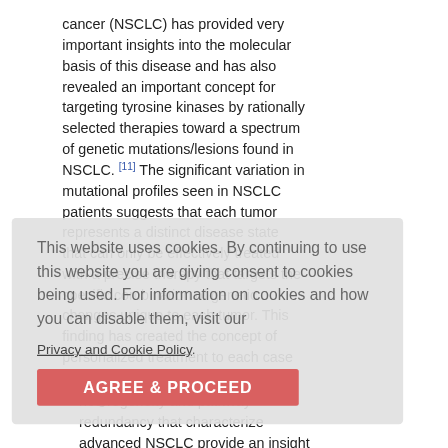cancer (NSCLC) has provided very important insights into the molecular basis of this disease and has also revealed an important concept for targeting tyrosine kinases by rationally selected therapies toward a spectrum of genetic mutations/lesions found in NSCLC. [11] The significant variation in mutational profiles seen in NSCLC patients suggests that each tumor represents a distinct disease state that can only be effectively treated with a precise therapy that targets the specific combination of genetic changes unique to each tumor. This finding has created the concept of personalized treatment to each case and led to a breakthrough in management of NSCLC. [12]
The complexity of genetic heterogeneity and pathway redundancy that characterize advanced NSCLC provide an insight
This website uses cookies. By continuing to use this website you are giving consent to cookies being used. For information on cookies and how you can disable them, visit our Privacy and Cookie Policy. AGREE & PROCEED